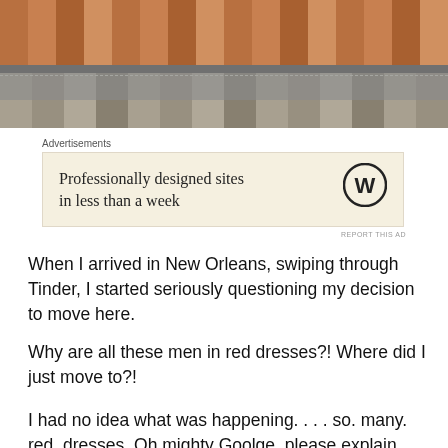[Figure (photo): Photograph of a brick and stone pavement/curb area with red/terracotta bricks on top, a grey stone curb, and lighter stone pavers below. A dashed line is visible across the middle.]
Advertisements
[Figure (other): WordPress advertisement: 'Professionally designed sites in less than a week' with WordPress logo on a beige background.]
REPORT THIS AD
When I arrived in New Orleans, swiping through Tinder, I started seriously questioning my decision to move here.
Why are all these men in red dresses?! Where did I just move to?!
I had no idea what was happening. . . . so. many. red. dresses. Oh mighty Goolge, please explain this phenomenon!